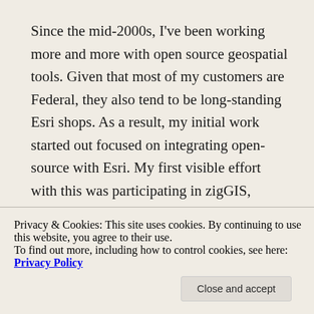Since the mid-2000s, I've been working more and more with open source geospatial tools. Given that most of my customers are Federal, they also tend to be long-standing Esri shops. As a result, my initial work started out focused on integrating open-source with Esri. My first visible effort with this was participating in zigGIS, which enabled direct read of PostGIS by ArcMap. PostgreSQL and PostGIS were of great benefit to one of my Navy customers and zigGIS was a natural fit. Since then my work has evolved to a point where about 50% of my work is purely with open-source tools, including some current Navy work. Part of that is due to the fact that
Privacy & Cookies: This site uses cookies. By continuing to use this website, you agree to their use.
To find out more, including how to control cookies, see here: Privacy Policy
Close and accept
programmer, it's just damn fun!